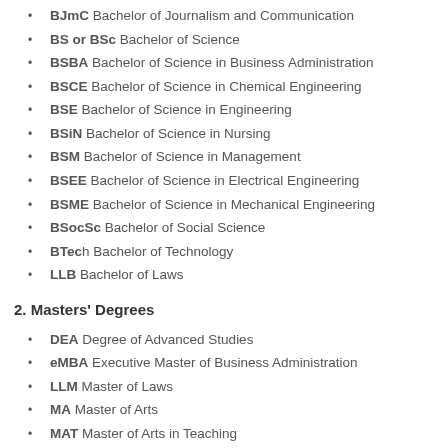BJmC Bachelor of Journalism and Communication
BS or BSc Bachelor of Science
BSBA Bachelor of Science in Business Administration
BSCE Bachelor of Science in Chemical Engineering
BSE Bachelor of Science in Engineering
BSiN Bachelor of Science in Nursing
BSM Bachelor of Science in Management
BSEE Bachelor of Science in Electrical Engineering
BSME Bachelor of Science in Mechanical Engineering
BSocSc Bachelor of Social Science
BTech Bachelor of Technology
LLB Bachelor of Laws
2. Masters' Degrees
DEA Degree of Advanced Studies
eMBA Executive Master of Business Administration
LLM Master of Laws
MA Master of Arts
MAT Master of Arts in Teaching
MBA Master of Business Administration
MCom Master of Commerce
MEd Master of Education